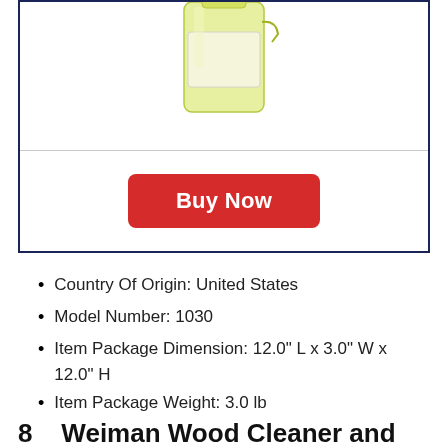[Figure (photo): Product image area showing a yellow/green spray bottle of cleaning product inside a navy-bordered box with a Buy Now button below a horizontal divider]
Country Of Origin: United States
Model Number: 1030
Item Package Dimension: 12.0" L x 3.0" W x 12.0" H
Item Package Weight: 3.0 lb
8    Weiman Wood Cleaner and